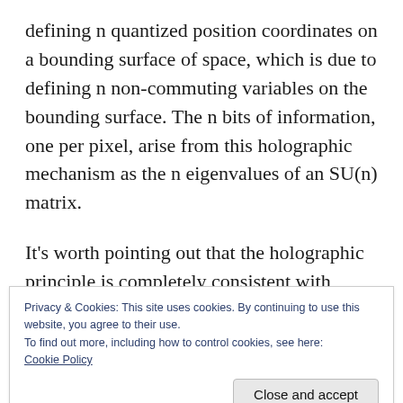defining n quantized position coordinates on a bounding surface of space, which is due to defining n non-commuting variables on the bounding surface. The n bits of information, one per pixel, arise from this holographic mechanism as the n eigenvalues of an SU(n) matrix.
It's worth pointing out that the holographic principle is completely consistent with quantum theory. In effect, each observer has its own
Privacy & Cookies: This site uses cookies. By continuing to use this website, you agree to their use.
To find out more, including how to control cookies, see here:
Cookie Policy
the thing from the, as expected point of